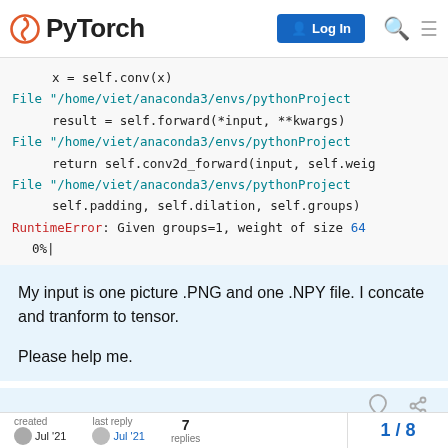PyTorch
[Figure (screenshot): Code block showing Python traceback with RuntimeError: Given groups=1, weight of size 64, 0%|]
My input is one picture .PNG and one .NPY file. I concate and tranform to tensor.

Please help me.
created  last reply  7 replies   1 / 8